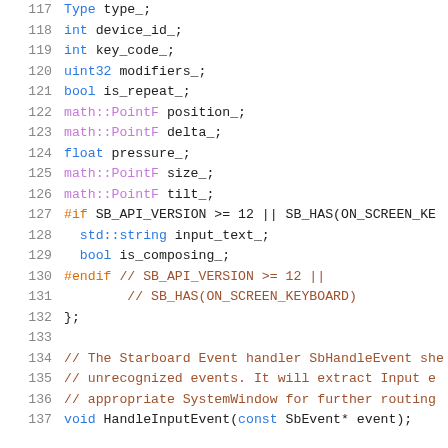117   Type type_;
118   int device_id_;
119   int key_code_;
120   uint32 modifiers_;
121   bool is_repeat_;
122   math::PointF position_;
123   math::PointF delta_;
124   float pressure_;
125   math::PointF size_;
126   math::PointF tilt_;
127   #if SB_API_VERSION >= 12 || SB_HAS(ON_SCREEN_KE
128     std::string input_text_;
129     bool is_composing_;
130   #endif  // SB_API_VERSION >= 12 ||
131           // SB_HAS(ON_SCREEN_KEYBOARD)
132   };
133
134   // The Starboard Event handler SbHandleEvent she
135   // unrecognized events. It will extract Input e
136   // appropriate SystemWindow for further routing
137   void HandleInputEvent(const SbEvent* event);